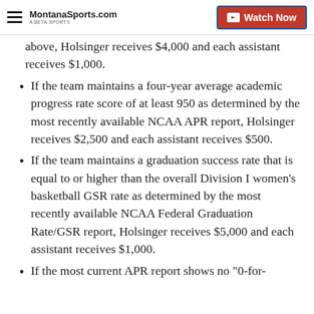MontanaSports.com | Watch Now
above, Holsinger receives $4,000 and each assistant receives $1,000.
If the team maintains a four-year average academic progress rate score of at least 950 as determined by the most recently available NCAA APR report, Holsinger receives $2,500 and each assistant receives $500.
If the team maintains a graduation success rate that is equal to or higher than the overall Division I women's basketball GSR rate as determined by the most recently available NCAA Federal Graduation Rate/GSR report, Holsinger receives $5,000 and each assistant receives $1,000.
If the most current APR report shows no "0-for-